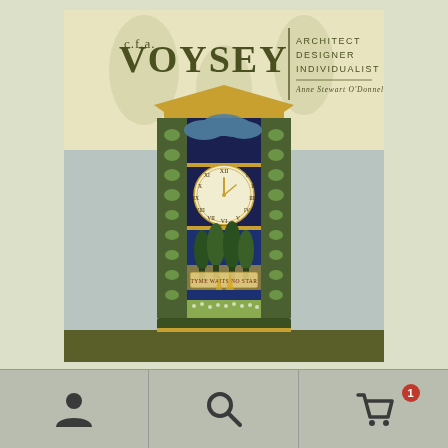[Figure (illustration): Book cover for 'C.F.A. Voysey: Architect Designer Individualist' by Anne Stewart O'Donnell. Features an Art Nouveau style grandfather clock design with Roman numerals, decorated with trees, clouds, and ornamental patterns on a cream/yellow background. The clock case shows decorative tile panels with floral motifs flanking a central clock face, with trees and a landscape scene below.]
[Figure (screenshot): Mobile app bottom navigation bar with three icons: a person/account icon on the left, a search magnifying glass icon in the center, and a shopping cart/basket icon with a red badge showing '1' on the right. Background is olive/sage gray.]